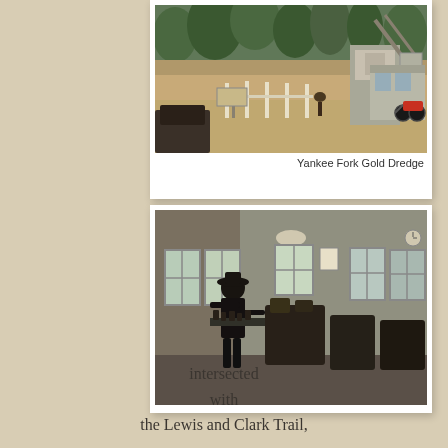[Figure (photo): Outdoor photo of Yankee Fork Gold Dredge site with mining equipment, fencing, signage, and a motorcycle visible against a rocky hillside with trees]
Yankee Fork Gold Dredge
[Figure (photo): Interior photo of a building at the gold dredge site showing a person in a hat standing near equipment, with multiple windows and machinery visible]
intersected
with
the Lewis and Clark Trail,